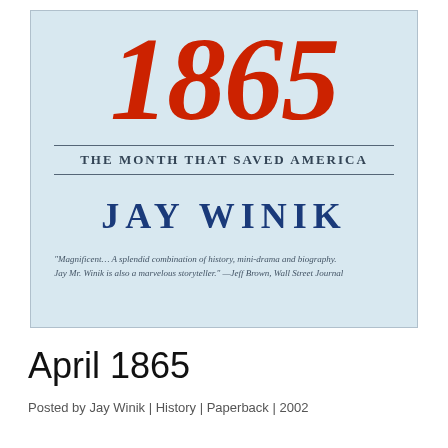[Figure (illustration): Book cover of 'April 1865: The Month That Saved America' by Jay Winik. Light blue background. Large red italic '1865' at top. Two horizontal divider lines flank the subtitle 'The Month That Saved America' in small caps. Author name 'JAY WINIK' in large dark blue letters. A review quote at the bottom in small italic text.]
April 1865
Posted by Jay Winik | History | Paperback | 2002